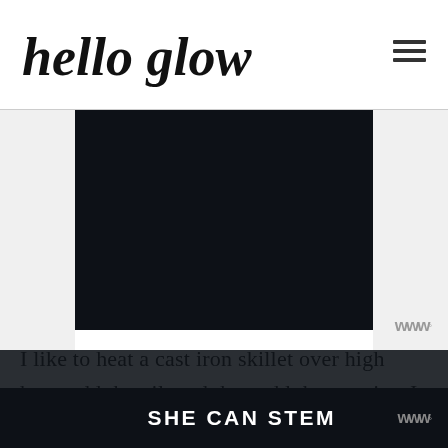hello glow
[Figure (photo): Dark/black rectangular image, appears to be a food or cooking photo on a website article page]
I like to heat a cast iron skillet over high heat, add the oil, and then add the veggies. I allow them to cook and blacken a bit
SHE CAN STEM